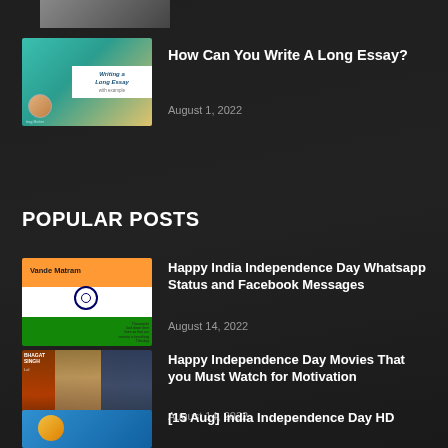[Figure (photo): Partial thumbnail of a photo at the top of the page]
[Figure (photo): Thumbnail for 'Writing a Long Essay with example' blog post]
How Can You Write A Long Essay?
August 1, 2022
POPULAR POSTS
[Figure (photo): Vande Matram India Independence Day image with Indian flag colors and map]
Happy India Independence Day Whatsapp Status and Facebook Messages
August 14, 2022
[Figure (photo): Collage of Indian independence/patriotic movie posters including Bhagat Singh and Lagaan]
Happy Independence Day Movies That you Must Watch for Motivation
August 14, 2022
[Figure (photo): Partial thumbnail of India Independence Day HD image at bottom]
[15 Aug] India Independence Day HD